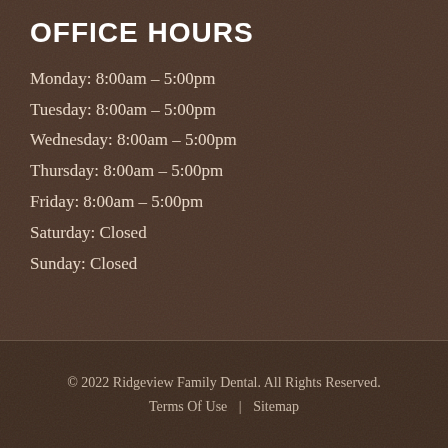OFFICE HOURS
Monday: 8:00am – 5:00pm
Tuesday: 8:00am – 5:00pm
Wednesday: 8:00am – 5:00pm
Thursday: 8:00am – 5:00pm
Friday: 8:00am – 5:00pm
Saturday: Closed
Sunday: Closed
© 2022 Ridgeview Family Dental. All Rights Reserved. Terms Of Use | Sitemap